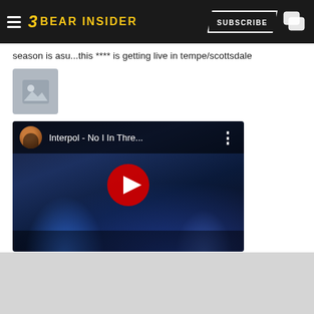Bear Insider — Subscribe
season is asu...this **** is getting live in tempe/scottsdale
[Figure (photo): Small image placeholder icon (mountain/landscape thumbnail)]
[Figure (screenshot): YouTube video embed thumbnail for 'Interpol - No I In Thre...' with red play button, dark concert stage background with blue lighting]
mill avenue#
[Figure (other): Action bar with star, reply, quote, and ellipsis icons]